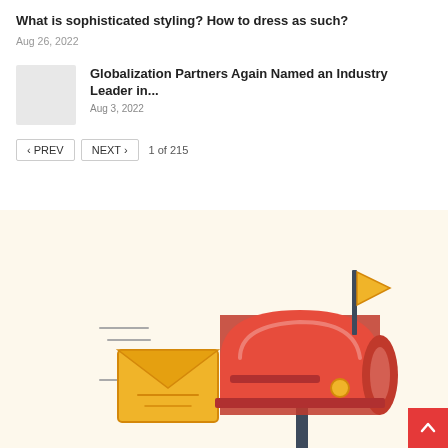What is sophisticated styling? How to dress as such?
Aug 26, 2022
[Figure (other): Placeholder thumbnail image (gray rectangle)]
Globalization Partners Again Named an Industry Leader in...
Aug 3, 2022
‹ PREV   NEXT ›   1 of 215
[Figure (illustration): Illustration of a red mailbox with a yellow flag raised and a yellow envelope flying out, on a light cream background. A dark pole supports the mailbox.]